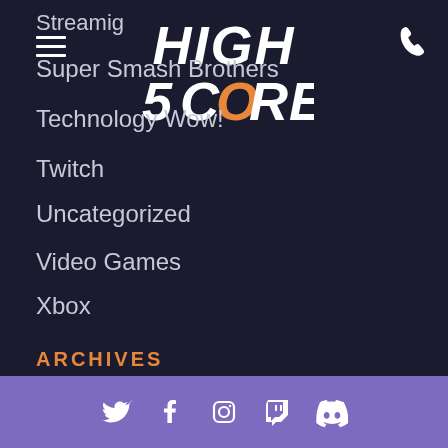Streamig
[Figure (logo): High Score logo with stylized text, HIGH on top line and 5CORE on bottom, with orange O character]
Super Smash Brothers
Technology Wow!
Twitch
Uncategorized
Video Games
Xbox
ARCHIVES
2020
December
March
Social icons: Twitter, Facebook, Instagram, Twitch, Discord